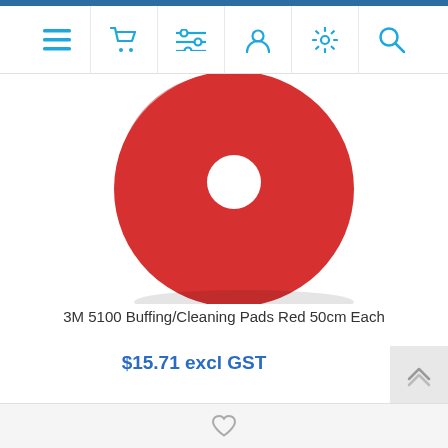Navigation bar with icons: menu, cart, filters, account, settings, search
[Figure (photo): Red circular buffing/cleaning pad with a white hole in the center, photographed against a white background.]
3M 5100 Buffing/Cleaning Pads Red 50cm Each
$15.71 excl GST
Heart/wishlist icon at bottom